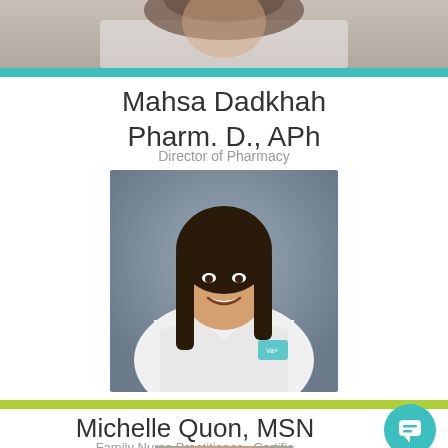[Figure (photo): Partial cropped photo of a woman in a white coat at the top of the page]
Mahsa Dadkhah
Pharm. D., APh
Director of Pharmacy
[Figure (photo): Professional headshot of a smiling woman with long dark hair wearing a white lab coat with a teal/green logo badge]
Michelle Quon, MSN
Family Nurse Practitioner - Certifie...
[Figure (photo): Partial photo at the bottom of the page, cropped, showing top of a person's head]